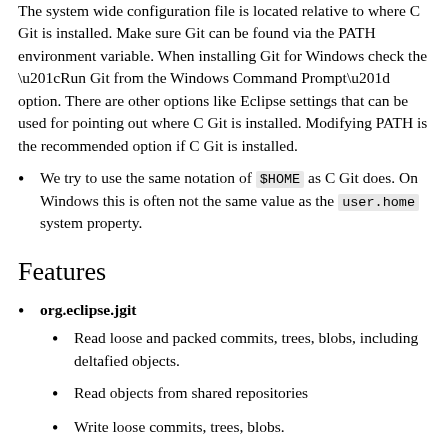The system wide configuration file is located relative to where C Git is installed. Make sure Git can be found via the PATH environment variable. When installing Git for Windows check the “Run Git from the Windows Command Prompt” option. There are other options like Eclipse settings that can be used for pointing out where C Git is installed. Modifying PATH is the recommended option if C Git is installed.
We try to use the same notation of $HOME as C Git does. On Windows this is often not the same value as the user.home system property.
Features
org.eclipse.jgit
Read loose and packed commits, trees, blobs, including deltafied objects.
Read objects from shared repositories
Write loose commits, trees, blobs.